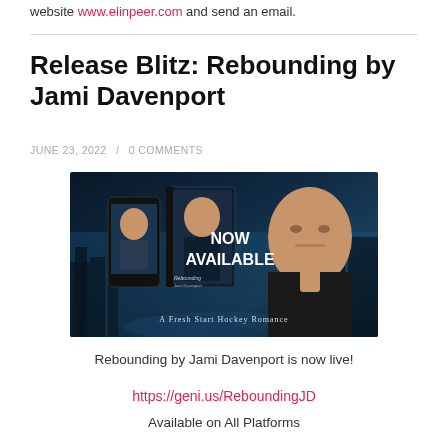website www.elinpeer.com and send an email.
Release Blitz: Rebounding by Jami Davenport
JUNE 23, 2022 / 0 COMMENTS
[Figure (photo): Book promotional banner for 'Rebounding' by Jami Davenport showing book cover mockups (phone and standalone) against a city night skyline background with a man's face, text reading 'NOW AVAILABLE' and 'A Fresh Start Hockey Romance']
Rebounding by Jami Davenport is now live!
https://geni.us/ReboundingJD
Available on All Platforms